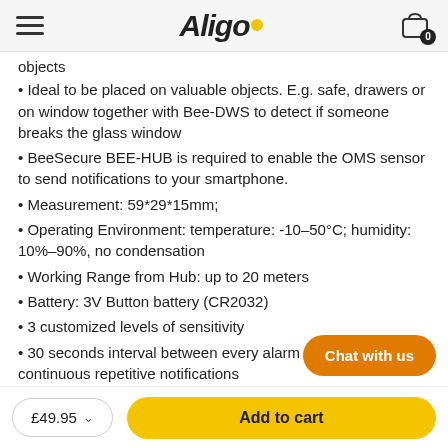Aligo
objects
• Ideal to be placed on valuable objects. E.g. safe, drawers or on window together with Bee-DWS to detect if someone breaks the glass window
• BeeSecure BEE-HUB is required to enable the OMS sensor to send notifications to your smartphone.
• Measurement: 59*29*15mm;
• Operating Environment: temperature: -10–50°C; humidity: 10%–90%, no condensation
• Working Range from Hub: up to 20 meters
• Battery: 3V Button battery (CR2032)
• 3 customized levels of sensitivity
• 30 seconds interval between every alarm to avoid continuous repetitive notifications
• Working Protocol: Zigbee
Chat with us
£49.95 ∨   Add to cart